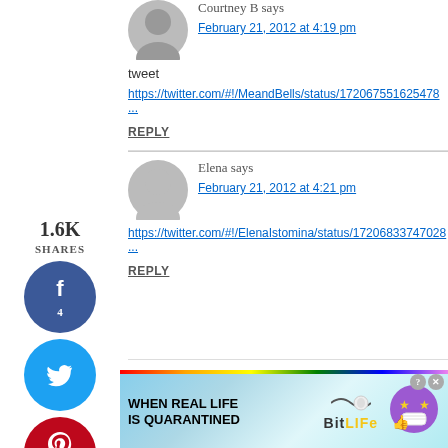Courtney B says
February 21, 2012 at 4:19 pm
tweet
https://twitter.com/#!/MeandBells/status/172067551625478...
REPLY
1.6K SHARES
Elena says
February 21, 2012 at 4:21 pm
https://twitter.com/#!/ElenaIstomina/status/172068337470...
REPLY
[Figure (screenshot): BitLife advertisement banner: 'WHEN REAL LIFE IS QUARANTINED' with BitLife branding, rainbow stripes, emoji character with star eyes and face mask]
[Figure (infographic): Social share sidebar with Facebook (4), Twitter, Pinterest (1.2K), and Yummly buttons showing 1.6K total shares]